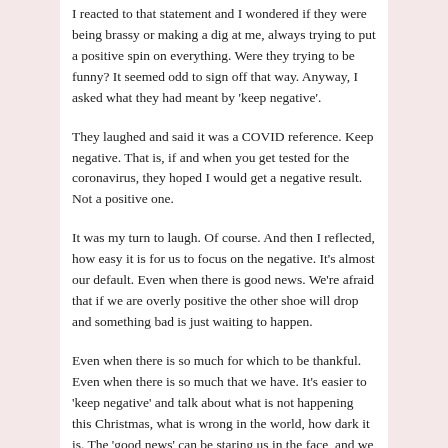I reacted to that statement and I wondered if they were being brassy or making a dig at me, always trying to put a positive spin on everything. Were they trying to be funny? It seemed odd to sign off that way. Anyway, I asked what they had meant by 'keep negative'.
They laughed and said it was a COVID reference. Keep negative. That is, if and when you get tested for the coronavirus, they hoped I would get a negative result. Not a positive one.
It was my turn to laugh. Of course. And then I reflected, how easy it is for us to focus on the negative. It's almost our default. Even when there is good news. We're afraid that if we are overly positive the other shoe will drop and something bad is just waiting to happen.
Even when there is so much for which to be thankful. Even when there is so much that we have. It's easier to 'keep negative' and talk about what is not happening this Christmas, what is wrong in the world, how dark it is. The 'good news' can be staring us in the face, and we don't